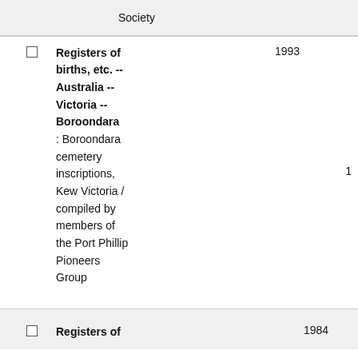Society
Registers of births, etc. -- Australia -- Victoria -- Boroondara : Boroondara cemetery inscriptions, Kew Victoria / compiled by members of the Port Phillip Pioneers Group	1993	1
Registers of	1984